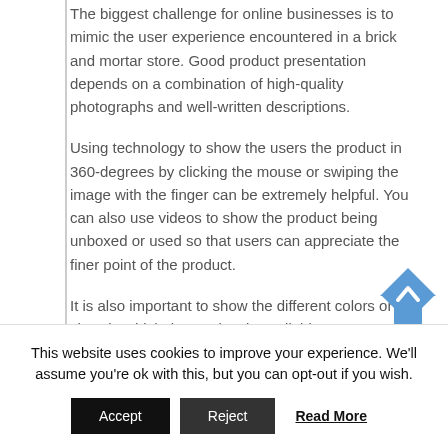The biggest challenge for online businesses is to mimic the user experience encountered in a brick and mortar store. Good product presentation depends on a combination of high-quality photographs and well-written descriptions.
Using technology to show the users the product in 360-degrees by clicking the mouse or swiping the image with the finger can be extremely helpful. You can also use videos to show the product being unboxed or used so that users can appreciate the finer point of the product.
It is also important to show the different colors or the sizes in which the product is available.
This website uses cookies to improve your experience. We'll assume you're ok with this, but you can opt-out if you wish.